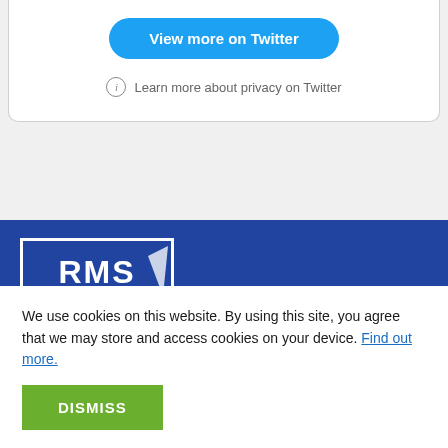[Figure (screenshot): Twitter embedded widget card bottom section with 'View more on Twitter' blue button and 'Learn more about privacy on Twitter' text with info icon]
[Figure (logo): RMS logo in white text on dark blue background, inside white bordered rectangle]
We use cookies on this website. By using this site, you agree that we may store and access cookies on your device. Find out more.
DISMISS